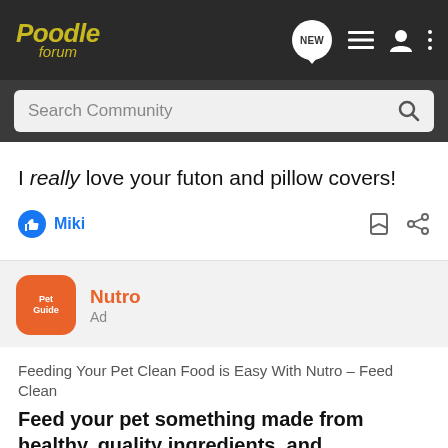Poodle forum
I really love your futon and pillow covers!
Miki
Nutro
Ad
Feeding Your Pet Clean Food is Easy With Nutro – Feed Clean
Feed your pet something made from healthy, quality ingredients, and formulated to meet all of their nutritional needs
[Figure (photo): Partial photo of a black dog at bottom of page]